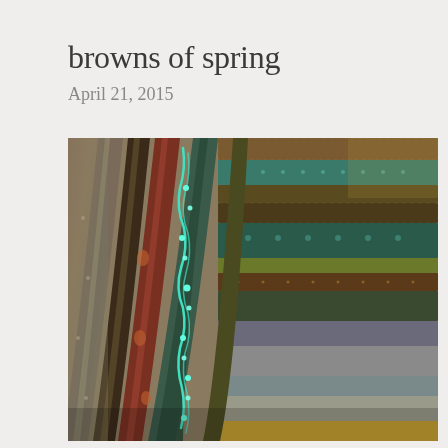browns of spring
April 21, 2015
[Figure (photo): A collection of rolled fabric bolts showing various brown, teal, rust, and earth-tone patterned fabrics arranged diagonally in the foreground with stacked folded fabric strips in the background.]